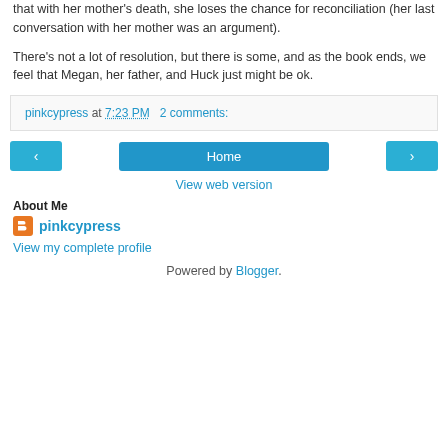that with her mother's death, she loses the chance for reconciliation (her last conversation with her mother was an argument).
There's not a lot of resolution, but there is some, and as the book ends, we feel that Megan, her father, and Huck just might be ok.
pinkcypress at 7:23 PM   2 comments:
[Figure (other): Navigation buttons: left arrow, Home, right arrow]
View web version
About Me
pinkcypress
View my complete profile
Powered by Blogger.